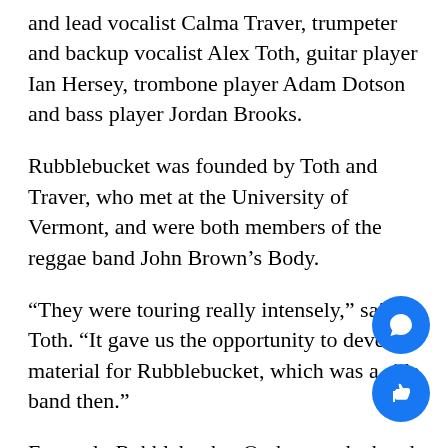and lead vocalist Calma Traver, trumpeter and backup vocalist Alex Toth, guitar player Ian Hersey, trombone player Adam Dotson and bass player Jordan Brooks.
Rubblebucket was founded by Toth and Traver, who met at the University of Vermont, and were both members of the reggae band John Brown's Body.
“They were touring really intensely,” said Toth. “It gave us the opportunity to develop material for Rubblebucket, which was a side band then.”
Formerly Rubblebucket Orchestra, the band decided to change their name for multiple reasons, said Toth.
“We decided to shorten it because it’s a representation of a shifting in sound for us,” said Toth. “We’ve become more of a full-time, dedicated band since we started.”